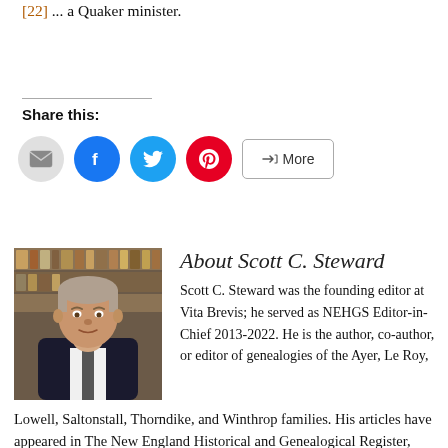[22] ... a Quaker minister.
Share this:
[Figure (infographic): Social share buttons: Email (grey circle), Facebook (blue circle), Twitter (cyan circle), Pinterest (red circle), More (outlined button)]
About Scott C. Steward
[Figure (photo): Headshot photo of Scott C. Steward, a man in a suit with bookshelves in the background.]
Scott C. Steward was the founding editor at Vita Brevis; he served as NEHGS Editor-in-Chief 2013-2022. He is the author, co-author, or editor of genealogies of the Ayer, Le Roy, Lowell, Saltonstall, Thorndike, and Winthrop families. His articles have appeared in The New England Historical and Genealogical Register, NEXUS, New England Ancestors, American Ancestors, and The Pennsylvania Genealogical Magazine, and he has written book reviews for the Register, The New York Genealogical and Biographical Record, and the